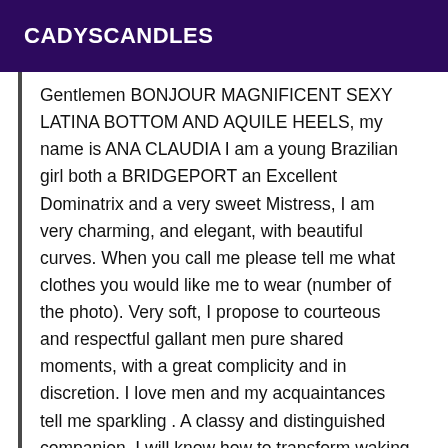CADYSCANDLES
Gentlemen BONJOUR MAGNIFICENT SEXY LATINA BOTTOM AND AQUILE HEELS, my name is ANA CLAUDIA I am a young Brazilian girl both a BRIDGEPORT an Excellent Dominatrix and a very sweet Mistress, I am very charming, and elegant, with beautiful curves. When you call me please tell me what clothes you would like me to wear (number of the photo). Very soft, I propose to courteous and respectful gallant men pure shared moments, with a great complicity and in discretion. I love men and my acquaintances tell me sparkling . A classy and distinguished companion, I will know how to transform waking dreams. I will introduce you to refinement in its raw state. I love to play role-playing games and have some latex outfits ... If you like a sexy Mistress in thong and heels, I can take care of you: I will welcome you in a beautiful sexy outfit with fine lingerie, garter belts, stockings, high heels or boots. Vinyl outfit. My wardrobe is nicely complete. I offer you